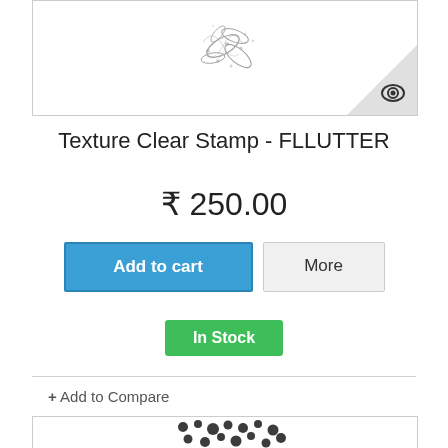[Figure (photo): Product image of Texture Clear Stamp FLUTTER showing floral/butterfly texture pattern on white background with eye icon in bottom-right corner]
Texture Clear Stamp - FLLUTTER
₹ 250.00
Add to cart | More
In Stock
+ Add to Compare
[Figure (photo): Product image showing a texture stamp pattern with scattered black dots/splotch marks on white background]